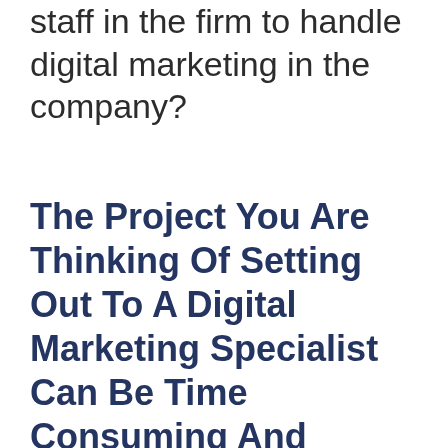staff in the firm to handle digital marketing in the company?
The Project You Are Thinking Of Setting Out To A Digital Marketing Specialist Can Be Time Consuming And Difficult To Learn, But It Can Be